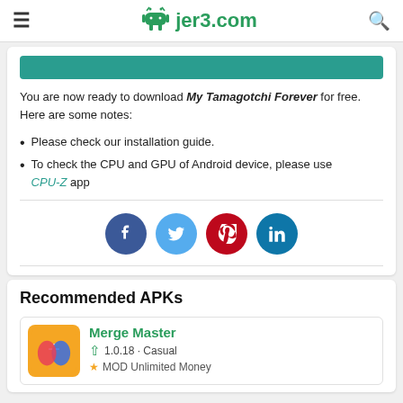jer3.com
You are now ready to download My Tamagotchi Forever for free. Here are some notes:
Please check our installation guide.
To check the CPU and GPU of Android device, please use CPU-Z app
[Figure (infographic): Social sharing icons: Facebook (dark blue), Twitter (light blue), Pinterest (red), LinkedIn (teal)]
Recommended APKs
Merge Master 1.0.18 · Casual MOD Unlimited Money